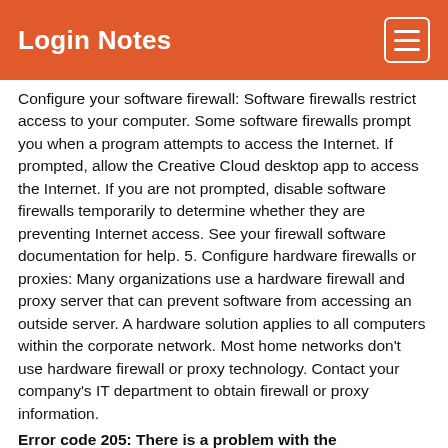Login Notes
Configure your software firewall: Software firewalls restrict access to your computer. Some software firewalls prompt you when a program attempts to access the Internet. If prompted, allow the Creative Cloud desktop app to access the Internet. If you are not prompted, disable software firewalls temporarily to determine whether they are preventing Internet access. See your firewall software documentation for help. 5. Configure hardware firewalls or proxies: Many organizations use a hardware firewall and proxy server that can prevent software from accessing an outside server. A hardware solution applies to all computers within the corporate network. Most home networks don't use hardware firewall or proxy technology. Contact your company's IT department to obtain firewall or proxy information.
Error code 205: There is a problem with the downloaded file
Error code 205: There is a problem with the downloaded file Error code 205 indicates that there was an issue with the downloaded file. This error can also occur due to network issues. Solution Follow the given steps. Go to the next solution only if a preceding one doesn't work. 1. Temporarily disable your antivirus software: See your antivirus documentation for information on